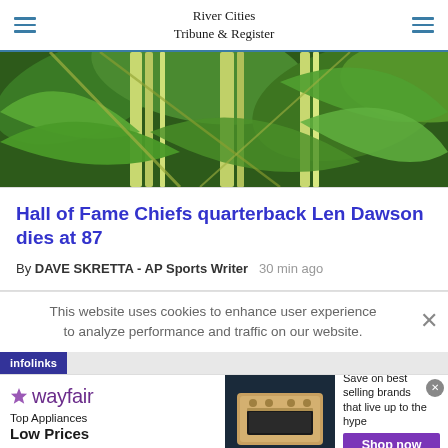River Cities Tribune & Register
[Figure (photo): Close-up photo of large green tropical leaves and bamboo or plant stems, outdoor nature photography]
Hall of Fame Chiefs quarterback Len Dawson dies at 87
By DAVE SKRETTA - AP Sports Writer    30 min ago
This website uses cookies to enhance user experience to analyze performance and traffic on our website.
[Figure (illustration): Infolinks advertisement label in dark blue/purple]
[Figure (illustration): Wayfair advertisement banner - Top Appliances Low Prices, Shop now button, image of appliance]